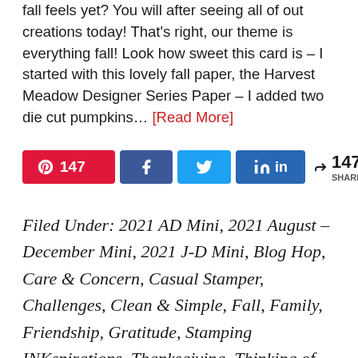fall feels yet? You will after seeing all of out creations today! That's right, our theme is everything fall! Look how sweet this card is – I started with this lovely fall paper, the Harvest Meadow Designer Series Paper – I added two die cut pumpkins... [Read More]
[Figure (infographic): Social sharing buttons: Pinterest (147), Facebook share, Twitter share, LinkedIn share, and share count showing 147 SHARES]
Filed Under: 2021 AD Mini, 2021 August – December Mini, 2021 J-D Mini, Blog Hop, Care & Concern, Casual Stamper, Challenges, Clean & Simple, Fall, Family, Friendship, Gratitude, Stamping INKspirations, Thanksgiving, Thinking of You